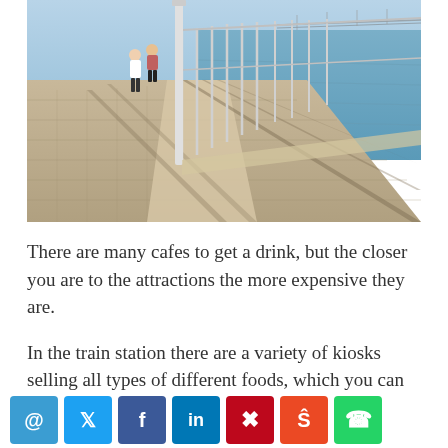[Figure (photo): A riverside promenade with cobblestone paving and metal railings, two people walking along the waterfront, a bridge visible in the background across a wide river, sunny day with strong shadows.]
There are many cafes to get a drink, but the closer you are to the attractions the more expensive they are.
In the train station there are a variety of kiosks selling all types of different foods, which you can